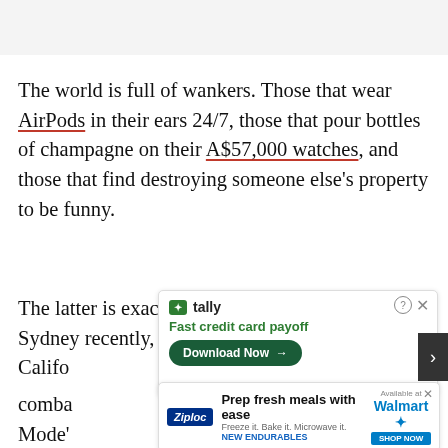The world is full of wankers. Those that wear AirPods in their ears 24/7, those that pour bottles of champagne on their A$57,000 watches, and those that find destroying someone else’s property to be funny.
The latter is exactly what happened to a Tesla in Sydney recently, but knowing their value, the Califo... combat... Mode'...
[Figure (screenshot): Tally app advertisement: green logo, 'Fast credit card payoff' text, 'Download Now' green button, help and close icons]
[Figure (screenshot): Ziploc advertisement: 'Prep fresh meals with ease, Freeze it. Bake it. Microwave it. NEW ENDURABLES', Walmart branding and Shop Now button]